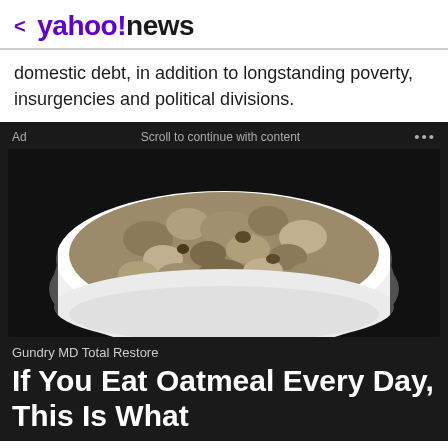< yahoo!news
domestic debt, in addition to longstanding poverty, insurgencies and political divisions.
[Figure (photo): Advertisement showing a white bowl filled with oatmeal on a dark background, for Gundry MD Total Restore. Ad bar reads: 'Ad | Scroll to continue with content | ...']
Gundry MD Total Restore
If You Eat Oatmeal Every Day, This Is What